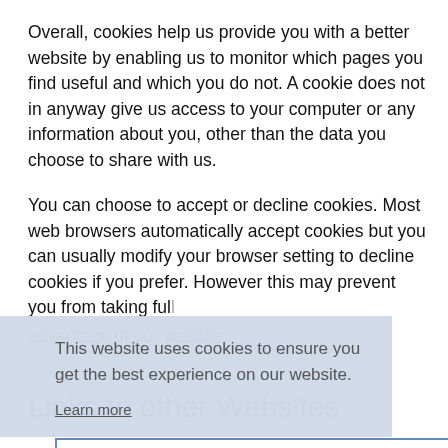Overall, cookies help us provide you with a better website by enabling us to monitor which pages you find useful and which you do not. A cookie does not in anyway give us access to your computer or any information about you, other than the data you choose to share with us.
You can choose to accept or decline cookies. Most web browsers automatically accept cookies but you can usually modify your browser setting to decline cookies if you prefer. However this may prevent you from taking full advantage of our website.
[Figure (screenshot): Cookie consent banner overlay showing: 'This website uses cookies to ensure you get the best experience on our website.' with a 'Learn more' link and a 'Got it!' button]
Links to other Websites
Our website may contain links to other websites of interest. However, once you have used these links to leave our site, you should note that we do not have any control over that